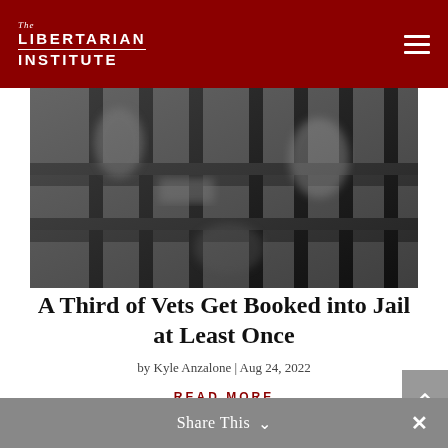The Libertarian Institute
[Figure (photo): Black and white photo of jail cell bars, with blurred figure visible through the bars]
A Third of Vets Get Booked into Jail at Least Once
by Kyle Anzalone | Aug 24, 2022
READ MORE
Share This